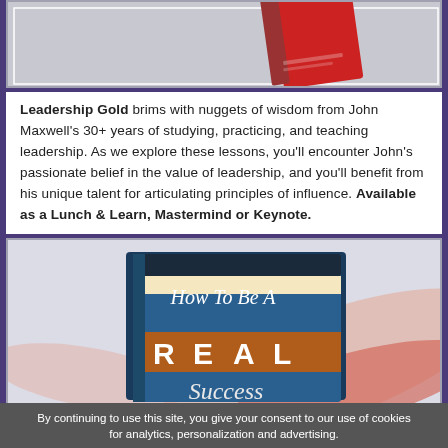[Figure (photo): Partial top image of a red book cover with decorative border frame, gray background]
Leadership Gold brims with nuggets of wisdom from John Maxwell's 30+ years of studying, practicing, and teaching leadership. As we explore these lessons, you'll encounter John's passionate belief in the value of leadership, and you'll benefit from his unique talent for articulating principles of influence. Available as a Lunch & Learn, Mastermind or Keynote.
[Figure (photo): Book cover of 'How To Be A REAL Success' by John Maxwell, shown as a 3D book with blue, orange, and dark cover design, set against a decorative swirl background]
By continuing to use this site, you give your consent to our use of cookies for analytics, personalization and advertising.